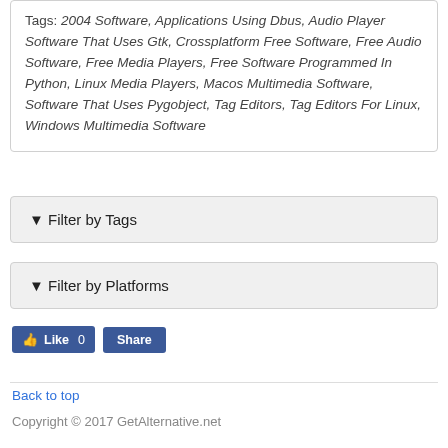Tags: 2004 Software, Applications Using Dbus, Audio Player Software That Uses Gtk, Crossplatform Free Software, Free Audio Software, Free Media Players, Free Software Programmed In Python, Linux Media Players, Macos Multimedia Software, Software That Uses Pygobject, Tag Editors, Tag Editors For Linux, Windows Multimedia Software
▼ Filter by Tags
▼ Filter by Platforms
Like 0   Share
Back to top
Copyright © 2017 GetAlternative.net